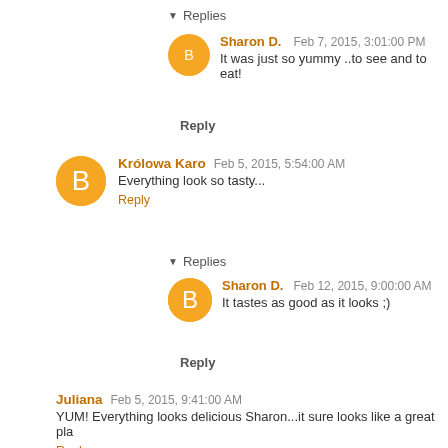▼ Replies
Sharon D.   Feb 7, 2015, 3:01:00 PM
It was just so yummy ..to see and to eat!
Reply
Królowa Karo   Feb 5, 2015, 5:54:00 AM
Everything look so tasty...
Reply
▼ Replies
Sharon D.   Feb 12, 2015, 9:00:00 AM
It tastes as good as it looks ;)
Reply
Juliana   Feb 5, 2015, 9:41:00 AM
YUM! Everything looks delicious Sharon...it sure looks like a great pla
Reply